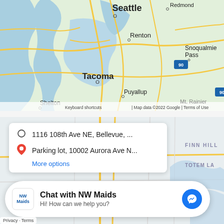[Figure (map): Google Maps screenshot showing the Puget Sound region of Washington State including Seattle, Redmond, Renton, Tacoma, Puyallup, Shelton, Olympia, Snoqualmie Pass, and Mt. Rainier. Roads and highways visible including I-90 and US-101. Zoom controls (+/-) visible in bottom right. Small satellite thumbnail in bottom left. Google branding, Keyboard shortcuts, Map data ©2022 Google, Terms of Use visible at bottom.]
[Figure (map): Google Maps screenshot showing a closer view of the Seattle/Kirkland area map with a direction popup card showing: origin '1116 108th Ave NE, Bellevue, ...' and destination 'Parking lot, 10002 Aurora Ave N...' with a 'More options' link. Map area labels include FINN HILL and TOTEM LA.]
Chat with NW Maids
Hi! How can we help you?